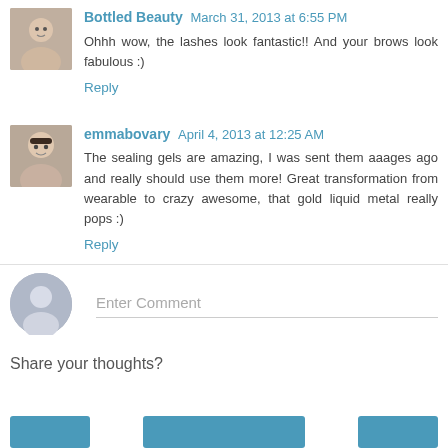Bottled Beauty  March 31, 2013 at 6:55 PM
Ohhh wow, the lashes look fantastic!! And your brows look fabulous :)
Reply
emmabovary  April 4, 2013 at 12:25 AM
The sealing gels are amazing, I was sent them aaages ago and really should use them more! Great transformation from wearable to crazy awesome, that gold liquid metal really pops :)
Reply
Enter Comment
Share your thoughts?